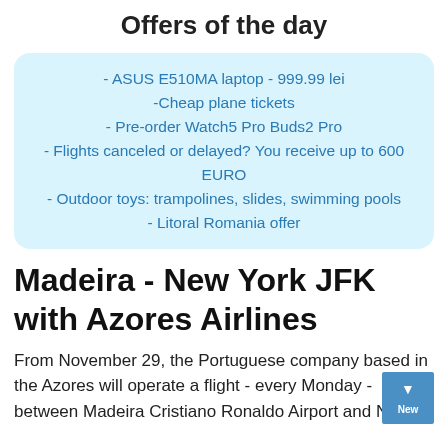Offers of the day
- ASUS E510MA laptop - 999.99 lei
-Cheap plane tickets
- Pre-order Watch5 Pro Buds2 Pro
- Flights canceled or delayed? You receive up to 600 EURO
- Outdoor toys: trampolines, slides, swimming pools
- Litoral Romania offer
Madeira - New York JFK with Azores Airlines
From November 29, the Portuguese company based in the Azores will operate a flight - every Monday - between Madeira Cristiano Ronaldo Airport and N